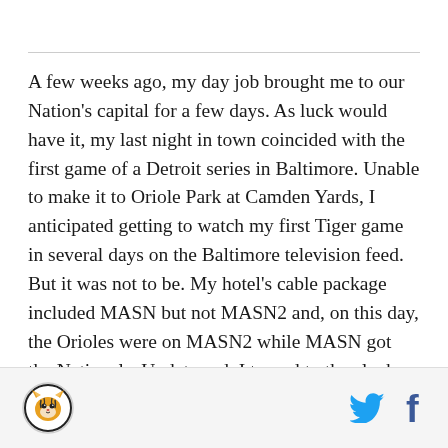A few weeks ago, my day job brought me to our Nation's capital for a few days. As luck would have it, my last night in town coincided with the first game of a Detroit series in Baltimore. Unable to make it to Oriole Park at Camden Yards, I anticipated getting to watch my first Tiger game in several days on the Baltimore television feed. But it was not to be. My hotel's cable package included MASN but not MASN2 and, on this day, the Orioles were on MASN2 while MASN got the Nationals. Undeterred, I turned to the clock radio next to the bed and quickly found the Orioles broadcast. While there's much to like about high-definition moving pictures, I was soon reminded of the charm of hearing
[Figure (logo): Circular logo with tiger illustration, black border on white/grey background]
[Figure (logo): Twitter bird icon in cyan blue and Facebook 'f' icon in dark blue, social media share buttons]